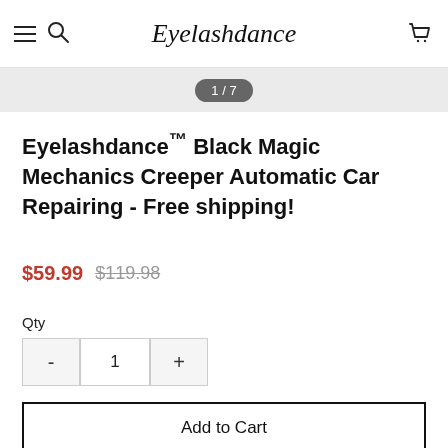Eyelashdance
1 / 7
Eyelashdance™ Black Magic Mechanics Creeper Automatic Car Repairing - Free shipping!
$59.99  $119.98
Qty
- 1 +
Add to Cart
Buy Now